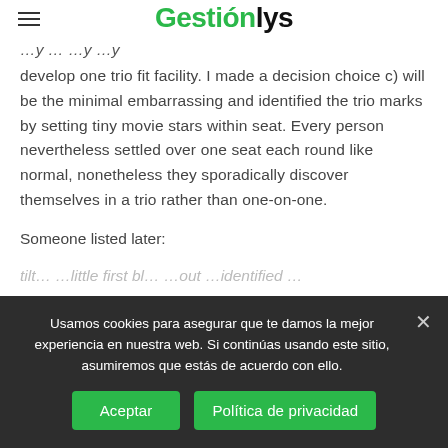Gestionlys
develop one trio fit facility. I made a decision choice c) will be the minimal embarrassing and identified the trio marks by setting tiny movie stars within seat. Every person nevertheless settled over one seat each round like normal, nonetheless they sporadically discover themselves in a trio rather than one-on-one.
Someone listed later:
Usamos cookies para asegurar que te damos la mejor experiencia en nuestra web. Si continúas usando este sitio, asumiremos que estás de acuerdo con ello.